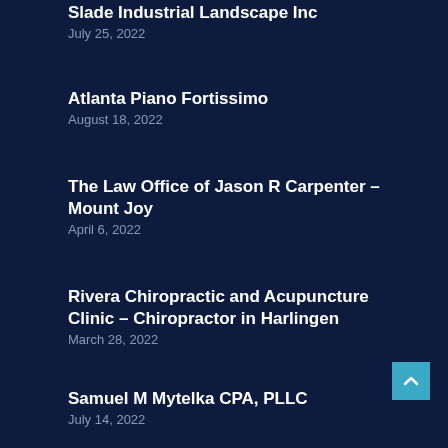Slade Industrial Landscape Inc
July 25, 2022
Atlanta Piano Fortissimo
August 18, 2022
The Law Office of Jason R Carpenter – Mount Joy
April 6, 2022
Rivera Chiropractic and Acupuncture Clinic – Chiropractor in Harlingen
March 28, 2022
Samuel M Mytelka CPA, PLLC
July 14, 2022